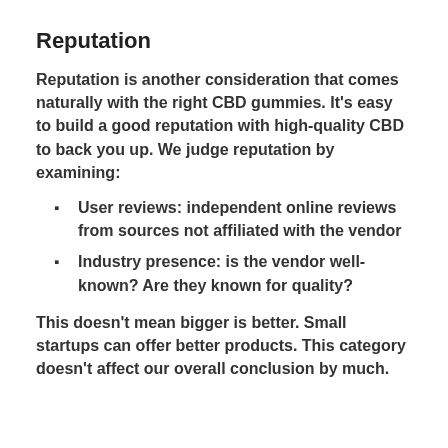Reputation
Reputation is another consideration that comes naturally with the right CBD gummies. It's easy to build a good reputation with high-quality CBD to back you up. We judge reputation by examining:
User reviews: independent online reviews from sources not affiliated with the vendor
Industry presence: is the vendor well-known? Are they known for quality?
This doesn't mean bigger is better. Small startups can offer better products. This category doesn't affect our overall conclusion by much.